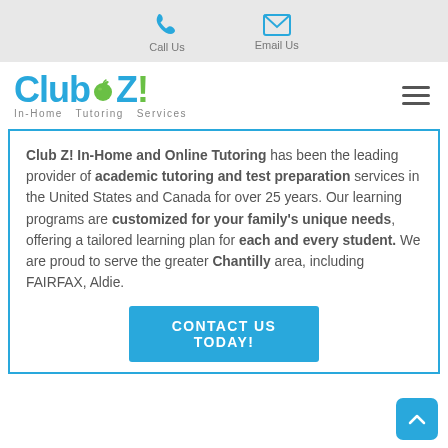Call Us   Email Us
[Figure (logo): Club Z! In-Home Tutoring Services logo with blue text and green apple icon]
Club Z! In-Home and Online Tutoring has been the leading provider of academic tutoring and test preparation services in the United States and Canada for over 25 years. Our learning programs are customized for your family's unique needs, offering a tailored learning plan for each and every student. We are proud to serve the greater Chantilly area, including FAIRFAX, Aldie.
CONTACT US TODAY!